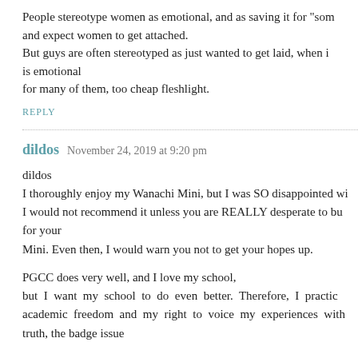People stereotype women as emotional, and as saving it for "som and expect women to get attached.
But guys are often stereotyped as just wanted to get laid, when i is emotional
for many of them, too cheap fleshlight.
REPLY
dildos   November 24, 2019 at 9:20 pm
dildos
I thoroughly enjoy my Wanachi Mini, but I was SO disappointed wi I would not recommend it unless you are REALLY desperate to bu for your
Mini. Even then, I would warn you not to get your hopes up.
PGCC does very well, and I love my school,
but I want my school to do even better. Therefore, I practic academic freedom and my right to voice my experiences with truth, the badge issue